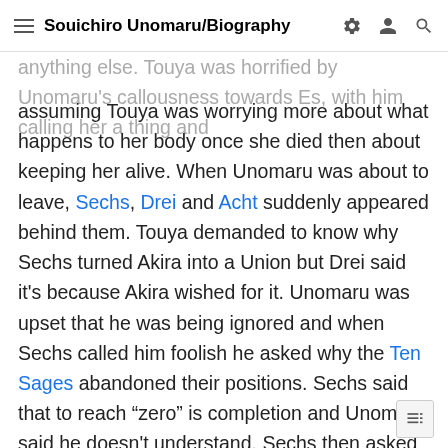Souichiro Unomaru/Biography
anything else. Touya was horrified by Unomaru's callousness towards Es, with him calling her a thing and assuming Touya was worrying more about what happens to her body once she died then about keeping her alive. When Unomaru was about to leave, Sechs, Drei and Acht suddenly appeared behind them. Touya demanded to know why Sechs turned Akira into a Union but Drei said it's because Akira wished for it. Unomaru was upset that he was being ignored and when Sechs called him foolish he asked why the Ten Sages abandoned their positions. Sechs said that to reach “zero” is completion and Unomaru said he doesn't understand. Sechs then asked Unomaru what he desired most from the world and Unomaru said he simply wanted the prosperity of all mankind and would do anything to achieve that, even controlling a god if one existed. After telling Touya to ask himself why he exists, Sechs disappeared alongside D and Acht. Unomaru called them rude for just showing